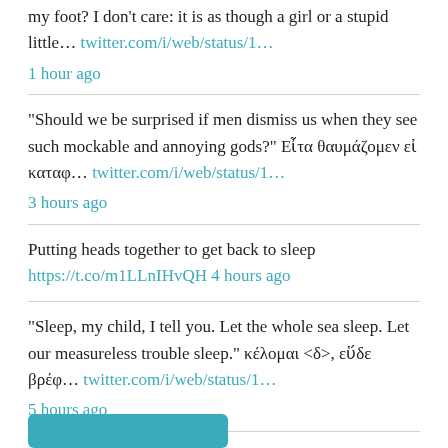my foot? I don't care: it is as though a girl or a stupid little... twitter.com/i/web/status/1... 1 hour ago
"Should we be surprised if men dismiss us when they see such mockable and annoying gods?" Εἶτα θαυμάζομεν εἰ καταφ... twitter.com/i/web/status/1... 3 hours ago
Putting heads together to get back to sleep https://t.co/m1LLnIHvQH 4 hours ago
"Sleep, my child, I tell you. Let the whole sea sleep. Let our measureless trouble sleep." κέλομαι <δ>, εὕδε βρέφ... twitter.com/i/web/status/1... 5 hours ago